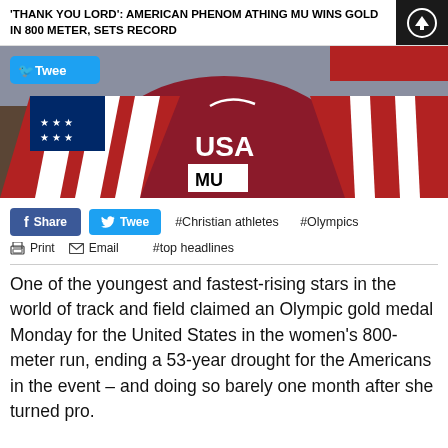'THANK YOU LORD': AMERICAN PHENOM ATHING MU WINS GOLD IN 800 METER, SETS RECORD
[Figure (photo): Athing Mu wearing USA uniform with bib number MU, draped in American flag, celebrating at Olympics. Twitter/Tweet button overlay visible.]
#Christian athletes   #Olympics
#top headlines
One of the youngest and fastest-rising stars in the world of track and field claimed an Olympic gold medal Monday for the United States in the women's 800-meter run, ending a 53-year drought for the Americans in the event – and doing so barely one month after she turned pro.